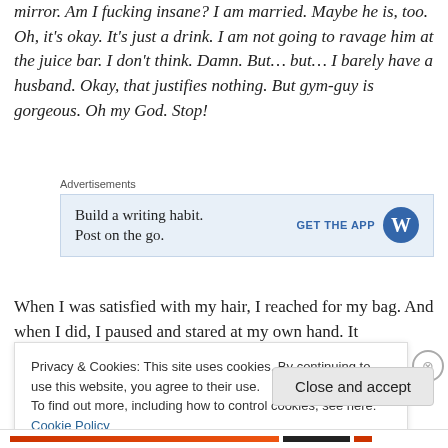mirror. Am I fucking insane? I am married. Maybe he is, too. Oh, it's okay. It's just a drink. I am not going to ravage him at the juice bar. I don't think. Damn. But… but… I barely have a husband. Okay, that justifies nothing. But gym-guy is gorgeous. Oh my God. Stop!
Advertisements
[Figure (screenshot): Advertisement box: Build a writing habit. Post on the go. GET THE APP with WordPress logo]
When I was satisfied with my hair, I reached for my bag. And when I did, I paused and stared at my own hand. It
Privacy & Cookies: This site uses cookies. By continuing to use this website, you agree to their use.
To find out more, including how to control cookies, see here: Cookie Policy
Close and accept